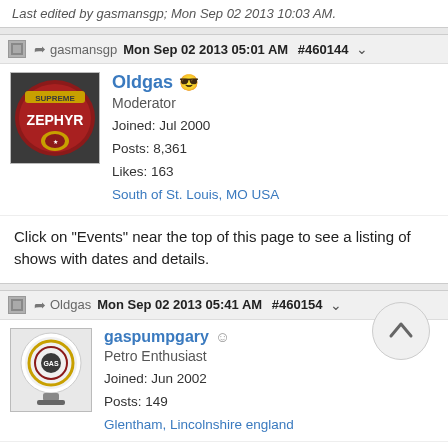Last edited by gasmansgp; Mon Sep 02 2013 10:03 AM.
gasmansgp Mon Sep 02 2013 05:01 AM #460144
Oldgas
Moderator
Joined: Jul 2000
Posts: 8,361
Likes: 163
South of St. Louis, MO USA
Click on "Events" near the top of this page to see a listing of shows with dates and details.
Oldgas Mon Sep 02 2013 05:41 AM #460154
gaspumpgary
Petro Enthusiast
Joined: Jun 2002
Posts: 149
Glentham, Lincolnshire england
I did both last year,, if you want car parts, Carlisle is best for late 50's to early 80's

Hershey's great for the earlier cars,,,and gas stuff Hershey has far more,, although a little less each year,,